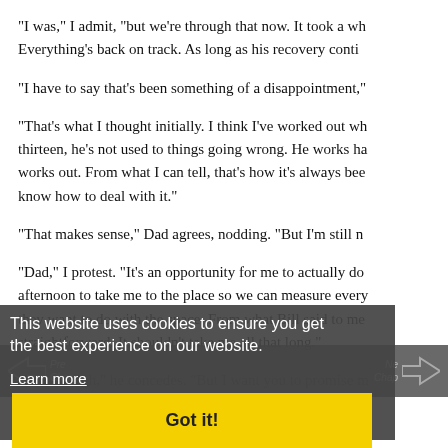"I was," I admit, "but we're through that now. It took a wh... Everything's back on track. As long as his recovery conti...
"I have to say that's been something of a disappointment,'
"That's what I thought initially. I think I've worked out wh... thirteen, he's not used to things going wrong. He works ha... works out. From what I can tell, that's how it's always bee... know how to deal with it."
"That makes sense," Dad agrees, nodding. "But I'm still n
"Dad," I protest. "It's an opportunity for me to actually do... afternoon to take me to the place so we can measure every... they want to do with the space. From what Bill said to me... straightforward. It shouldn't take me all that long."
"Fair enough," he concedes. "But I want you to promise m... expect, you call Mr. Gardner and tell him that he'll have... to come first. Is that understood?"
"Yes, thanks Dad."
He leaves me to get on with my homework. I'm not entire...